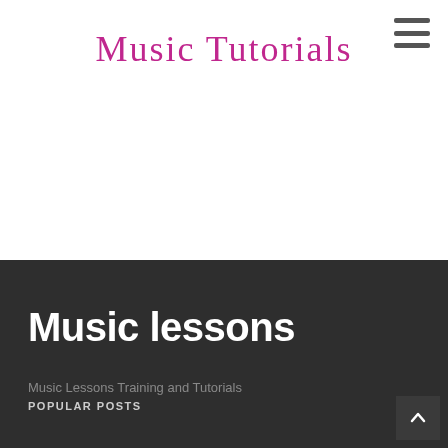≡
Music Tutorials
Music lessons
Music Lessons Training and Tutorials
POPULAR POSTS